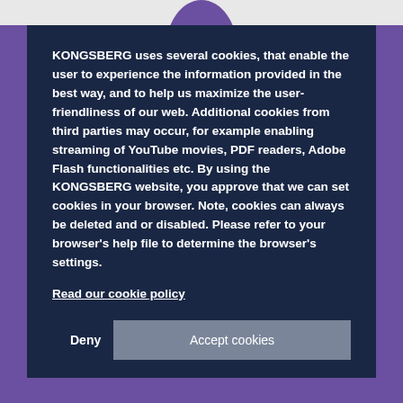KONGSBERG uses several cookies, that enable the user to experience the information provided in the best way, and to help us maximize the user-friendliness of our web. Additional cookies from third parties may occur, for example enabling streaming of YouTube movies, PDF readers, Adobe Flash functionalities etc. By using the KONGSBERG website, you approve that we can set cookies in your browser. Note, cookies can always be deleted and or disabled. Please refer to your browser's help file to determine the browser's settings.
Read our cookie policy
Deny
Accept cookies